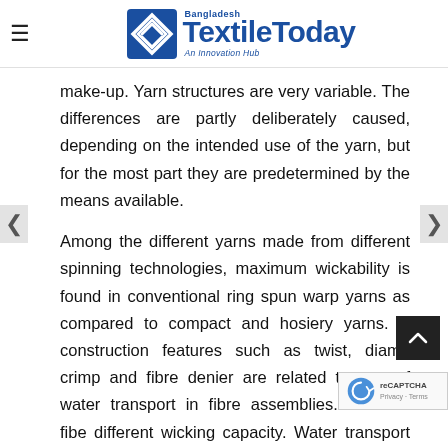TextileToday Bangladesh — An Innovation Hub
make-up. Yarn structures are very variable. The differences are partly deliberately caused, depending on the intended use of the yarn, but for the most part they are predetermined by the means available.
Among the different yarns made from different spinning technologies, maximum wickability is found in conventional ring spun warp yarns as compared to compact and hosiery yarns. Y construction features such as twist, diameter, crimp and fibre denier are related to rate of water transport in fibre assemblies. Different fiber different wicking capacity. Water transport in